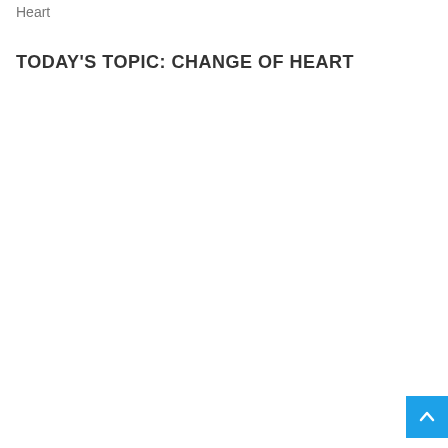Heart
TODAY'S TOPIC: CHANGE OF HEART